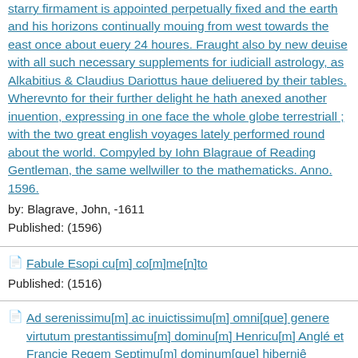starry firmament is appointed perpetually fixed and the earth and his horizons continually mouing from west towards the east once about euery 24 houres. Fraught also by new deuise with all such necessary supplements for iudiciall astrology, as Alkabitius & Claudius Dariottus haue deliuered by their tables. Wherevnto for their further delight he hath anexed another inuention, expressing in one face the whole globe terrestriall ; with the two great english voyages lately performed round about the world. Compyled by Iohn Blagraue of Reading Gentleman, the same wellwiller to the mathematicks. Anno. 1596.
by: Blagrave, John, -1611
Published: (1596)
Fabule Esopi cu[m] co[m]me[n]to
Published: (1516)
Ad serenissimu[m] ac inuictissimu[m] omni[que] genere virtutum prestantissimu[m] dominu[m] Henricu[m] Anglé et Francie Regem Septimu[m] dominum[que] hiberniê Wilielmi Parron Placentini artiu[m] & medecine doctoris de astrorum i[n] fluxu anni presentis millesimi quingentesimi tercii pronsticon libellus.